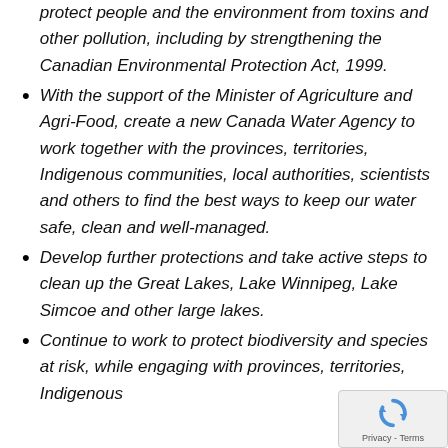protect people and the environment from toxins and other pollution, including by strengthening the Canadian Environmental Protection Act, 1999.
With the support of the Minister of Agriculture and Agri-Food, create a new Canada Water Agency to work together with the provinces, territories, Indigenous communities, local authorities, scientists and others to find the best ways to keep our water safe, clean and well-managed.
Develop further protections and take active steps to clean up the Great Lakes, Lake Winnipeg, Lake Simcoe and other large lakes.
Continue to work to protect biodiversity and species at risk, while engaging with provinces, territories, Indigenous